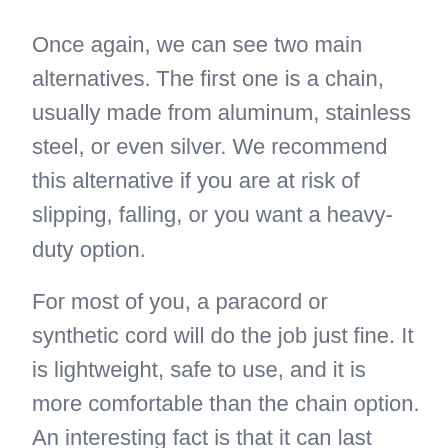Once again, we can see two main alternatives. The first one is a chain, usually made from aluminum, stainless steel, or even silver. We recommend this alternative if you are at risk of slipping, falling, or you want a heavy-duty option.
For most of you, a paracord or synthetic cord will do the job just fine. It is lightweight, safe to use, and it is more comfortable than the chain option. An interesting fact is that it can last longer than the chain.
| 1. | WUSTHOF CUTLERY SALE | › |
| 2. | BEST KITCHEN CABINET COLORS | › |